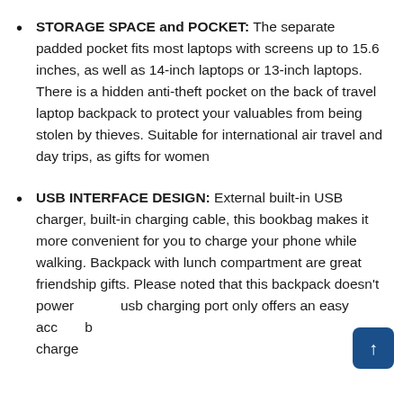STORAGE SPACE and POCKET: The separate padded pocket fits most laptops with screens up to 15.6 inches, as well as 14-inch laptops or 13-inch laptops. There is a hidden anti-theft pocket on the back of travel laptop backpack to protect your valuables from being stolen by thieves. Suitable for international air travel and day trips, as gifts for women
USB INTERFACE DESIGN: External built-in USB charger, built-in charging cable, this bookbag makes it more convenient for you to charge your phone while walking. Backpack with lunch compartment are great friendship gifts. Please noted that this backpack doesn't power usb charging port only offers an easy acc charge